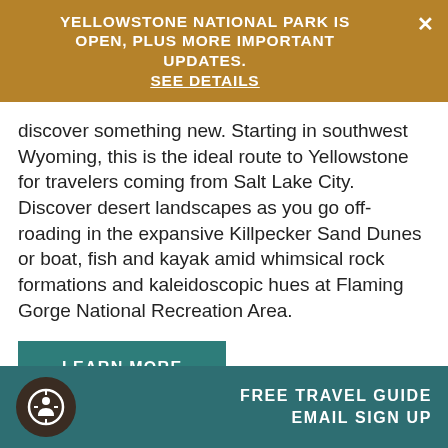YELLOWSTONE NATIONAL PARK IS OPEN, PLUS MORE IMPORTANT UPDATES. SEE DETAILS
discover something new. Starting in southwest Wyoming, this is the ideal route to Yellowstone for travelers coming from Salt Lake City. Discover desert landscapes as you go off-roading in the expansive Killpecker Sand Dunes or boat, fish and kayak amid whimsical rock formations and kaleidoscopic hues at Flaming Gorge National Recreation Area.
LEARN MORE
FREE TRAVEL GUIDE EMAIL SIGN UP